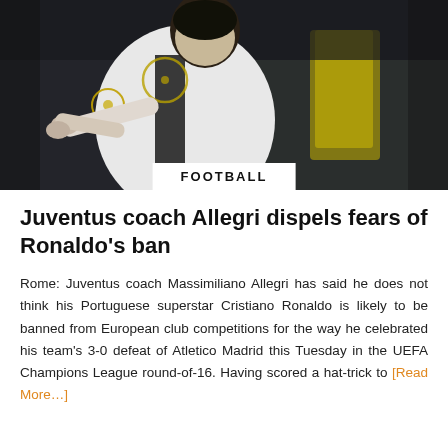[Figure (photo): Cristiano Ronaldo in Juventus white jersey with Champions League badge, celebrating with arm gesture, referee in yellow background]
FOOTBALL
Juventus coach Allegri dispels fears of Ronaldo's ban
Rome: Juventus coach Massimiliano Allegri has said he does not think his Portuguese superstar Cristiano Ronaldo is likely to be banned from European club competitions for the way he celebrated his team's 3-0 defeat of Atletico Madrid this Tuesday in the UEFA Champions League round-of-16. Having scored a hat-trick to [Read More…]